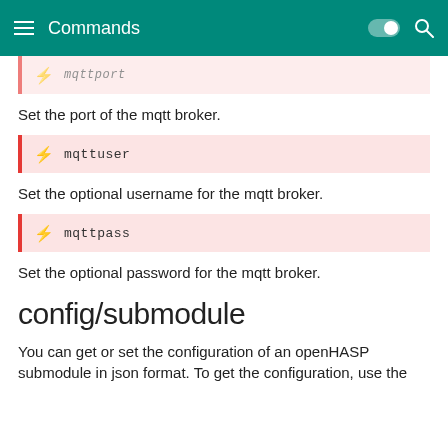Commands
mqttuser
Set the optional username for the mqtt broker.
mqttpass
Set the optional password for the mqtt broker.
config/submodule
You can get or set the configuration of an openHASP submodule in json format. To get the configuration, use the